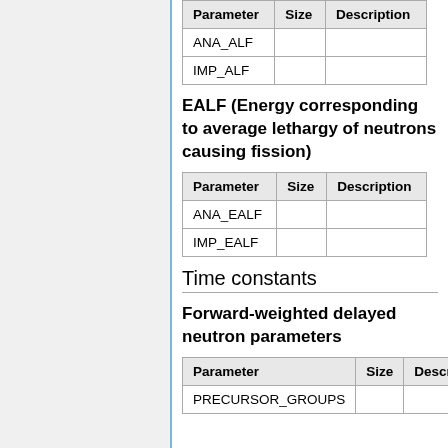| Parameter | Size | Description |
| --- | --- | --- |
| ANA_ALF |  |  |
| IMP_ALF |  |  |
EALF (Energy corresponding to average lethargy of neutrons causing fission)
| Parameter | Size | Description |
| --- | --- | --- |
| ANA_EALF |  |  |
| IMP_EALF |  |  |
Time constants
Forward-weighted delayed neutron parameters
| Parameter | Size | Descript… |
| --- | --- | --- |
| PRECURSOR_GROUPS |  |  |